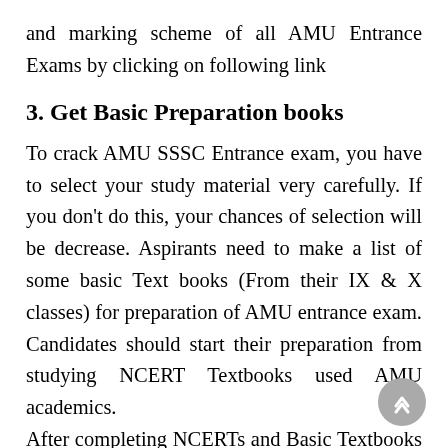and marking scheme of all AMU Entrance Exams by clicking on following link
3. Get Basic Preparation books
To crack AMU SSSC Entrance exam, you have to select your study material very carefully. If you don't do this, your chances of selection will be decrease. Aspirants need to make a list of some basic Text books (From their IX & X classes) for preparation of AMU entrance exam. Candidates should start their preparation from studying NCERT Textbooks used AMU academics.
After completing NCERTs and Basic Textbooks of